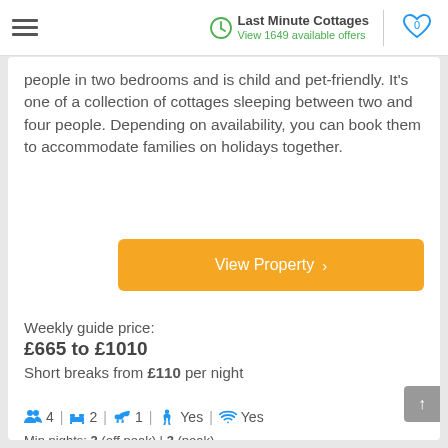Last Minute Cottages — View 1649 available offers
people in two bedrooms and is child and pet-friendly. It's one of a collection of cottages sleeping between two and four people. Depending on availability, you can book them to accommodate families on holidays together.
View Property >
Weekly guide price:
£665 to £1010
Short breaks from £110 per night
4 | 2 | 1 | Yes | Yes
Min nights: 2 (off peak) | 3 (peak)
Preferred arrival day: Flexible